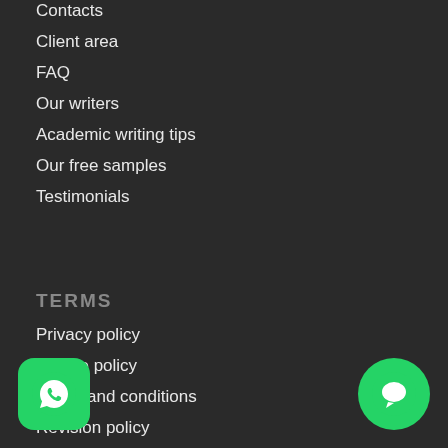Contacts
Client area
FAQ
Our writers
Academic writing tips
Our free samples
Testimonials
TERMS
Privacy policy
Cookie policy
Terms and conditions
Revision policy
Guarantees
[Figure (logo): WhatsApp green button with phone icon, bottom left]
[Figure (logo): Green chat bubble button, bottom right]